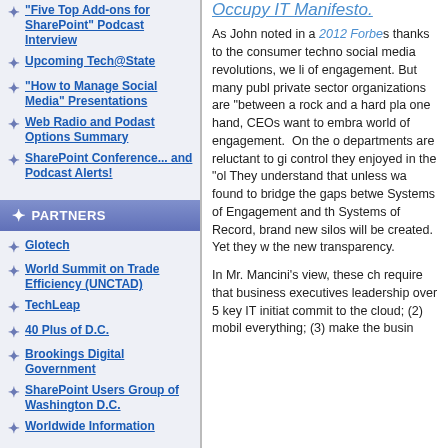"Five Top Add-ons for SharePoint" Podcast Interview
Upcoming Tech@State
"How to Manage Social Media" Presentations
Web Radio and Podast Options Summary
SharePoint Conference... and Podcast Alerts!
PARTNERS
Glotech
World Summit on Trade Efficiency (UNCTAD)
TechLeap
40 Plus of D.C.
Brookings Digital Government
SharePoint Users Group of Washington D.C.
Worldwide Information
Occupy IT Manifesto.
As John noted in a 2012 Forbes thanks to the consumer techno social media revolutions, we li of engagement. But many publ private sector organizations are “between a rock and a hard pla one hand, CEOs want toembra world of engagement.  On the departments are reluctant to gi control they enjoyed in the “ol They understand that unless wa found to bridge the gaps betwe Systems of Engagement and th Systems of Record, brand new silos will be created. Yet they w the new transparency.
In Mr. Mancini’s view, these ch require that business executives leadership over 5 key IT initiat commit to the cloud; (2) mobil everything; (3) make the busin